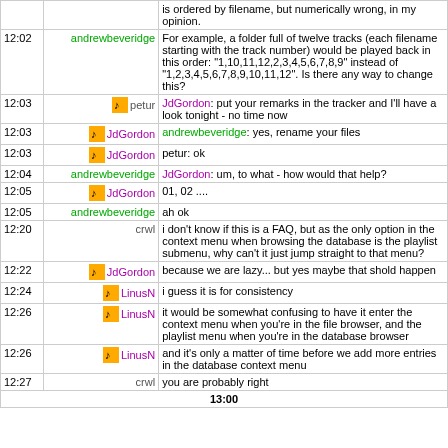| Time | User | Message |
| --- | --- | --- |
|  |  | is ordered by filename, but numerically wrong, in my opinion. |
| 12:02 | andrewbeveridge | For example, a folder full of twelve tracks (each filename starting with the track number) would be played back in this order: "1,10,11,12,2,3,4,5,6,7,8,9" instead of "1,2,3,4,5,6,7,8,9,10,11,12". Is there any way to change this? |
| 12:03 | [icon] petur | JdGordon: put your remarks in the tracker and I'll have a look tonight - no time now |
| 12:03 | [icon] JdGordon | andrewbeveridge: yes, rename your files |
| 12:03 | [icon] JdGordon | petur: ok |
| 12:04 | andrewbeveridge | JdGordon: um, to what - how would that help? |
| 12:05 | [icon] JdGordon | 01, 02 .... |
| 12:05 | andrewbeveridge | ah ok |
| 12:20 | crwl | i don't know if this is a FAQ, but as the only option in the context menu when browsing the database is the playlist submenu, why can't it just jump straight to that menu? |
| 12:22 | [icon] JdGordon | because we are lazy... but yes maybe that shold happen |
| 12:24 | [icon] LinusN | i guess it is for consistency |
| 12:26 | [icon] LinusN | it would be somewhat confusing to have it enter the context menu when you're in the file browser, and the playlist menu when you're in the database browser |
| 12:26 | [icon] LinusN | and it's only a matter of time before we add more entries in the database context menu |
| 12:27 | crwl | you are probably right |
| 13:00 |  |  |